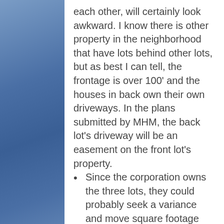each other, will certainly look awkward. I know there is other property in the neighborhood that have lots behind other lots, but as best I can tell, the frontage is over 100' and the houses in back own their own driveways. In the plans submitted by MHM, the back lot's driveway will be an easement on the front lot's property.
Since the corporation owns the three lots, they could probably seek a variance and move square footage around